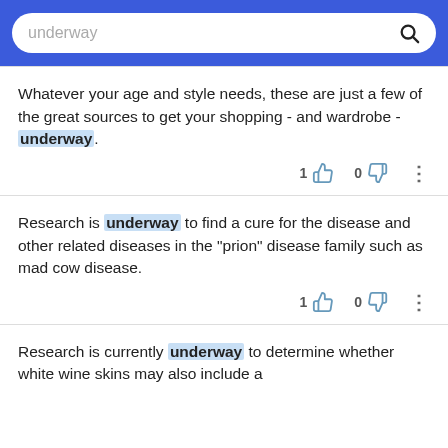underway
Whatever your age and style needs, these are just a few of the great sources to get your shopping - and wardrobe - underway.
Research is underway to find a cure for the disease and other related diseases in the "prion" disease family such as mad cow disease.
Research is currently underway to determine whether white wine skins may also include a...